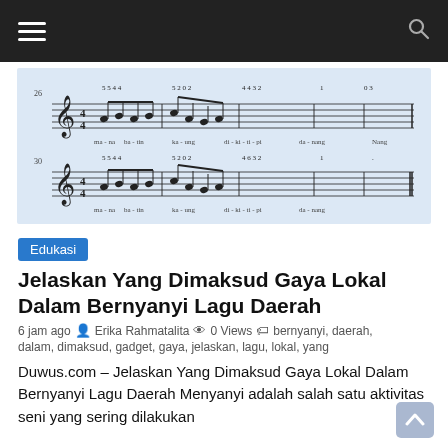Navigation header with hamburger menu and search icon
[Figure (other): Music sheet notation showing two lines of musical staff with notes and solfege syllables: ma-na ba-tin ka-ung di-ki-ti-pi da-nang Nang]
Edukasi
Jelaskan Yang Dimaksud Gaya Lokal Dalam Bernyanyi Lagu Daerah
6 jam ago  Erika Rahmatalita  0 Views  bernyanyi, daerah, dalam, dimaksud, gadget, gaya, jelaskan, lagu, lokal, yang
Duwus.com – Jelaskan Yang Dimaksud Gaya Lokal Dalam Bernyanyi Lagu Daerah Menyanyi adalah salah satu aktivitas seni yang sering dilakukan